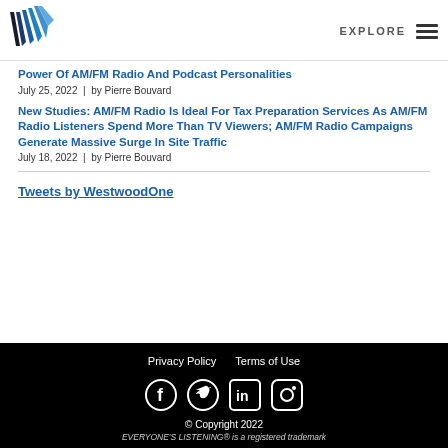EXPLORE
Power Of AM/FM Radio And Podcast Personalities
July 25, 2022  |  by Pierre Bouvard
New Studies: AM/FM Radio Is Ideal For Tax Preparation Services As AM/FM Radio Listeners Spend More Than TV Viewers; AM/FM Radio Campaigns Generate Massive Surge In Site Traffic
July 18, 2022  |  by Pierre Bouvard
Tweets by WestwoodOne
Privacy Policy   Terms of Use   © Copyright 2022   EVERYONE'S LISTENING® is a registered trademark